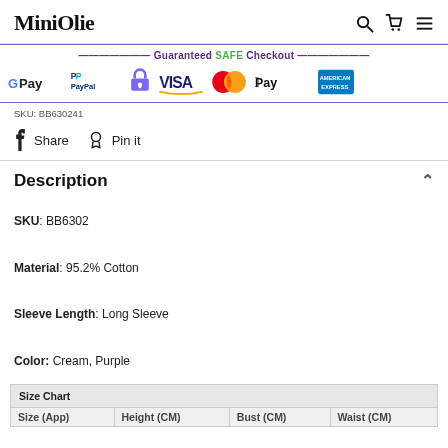MiniOlie
[Figure (infographic): Guaranteed SAFE Checkout banner with payment method logos: Google Pay, PayPal, lock icon, VISA, MasterCard, Apple Pay, American Express]
SKU: BB630241
f Share   Pin it
Description
SKU: BB6302
Material: 95.2% Cotton
Sleeve Length: Long Sleeve
Color: Cream, Purple
| Size Chart |  |  |  |
| --- | --- | --- | --- |
| Size (App) | Height (CM) | Bust (CM) | Waist (CM) |